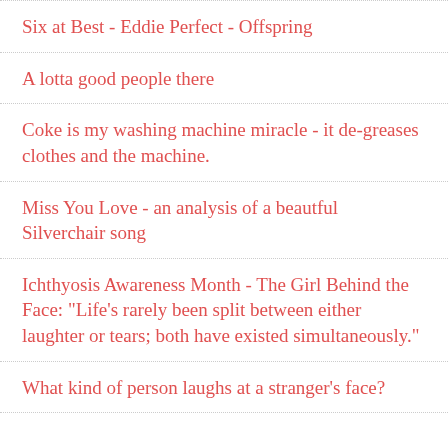Six at Best - Eddie Perfect - Offspring
A lotta good people there
Coke is my washing machine miracle - it de-greases clothes and the machine.
Miss You Love - an analysis of a beautful Silverchair song
Ichthyosis Awareness Month - The Girl Behind the Face: "Life’s rarely been split between either laughter or tears; both have existed simultaneously."
What kind of person laughs at a stranger's face?